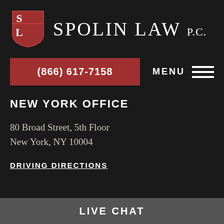[Figure (logo): Spolin Law P.C. logo with red shield containing SL initials and firm name text]
(866) 617-7158
MENU
NEW YORK OFFICE
80 Broad Street, 5th Floor
New York, NY 10004
DRIVING DIRECTIONS
LIVE CHAT